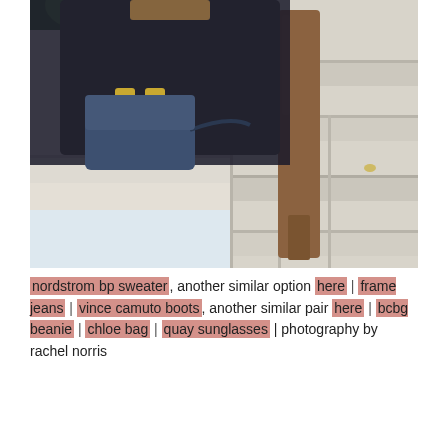[Figure (photo): Fashion photo of a person sitting on white marble steps, wearing tan/camel over-the-knee suede boots, dark jeans, and holding a blue Chloe handbag. The steps are white/light grey marble. There is greenery visible in the upper left corner.]
nordstrom bp sweater, another similar option here | frame jeans | vince camuto boots, another similar pair here | bcbg beanie | chloe bag | quay sunglasses | photography by rachel norris